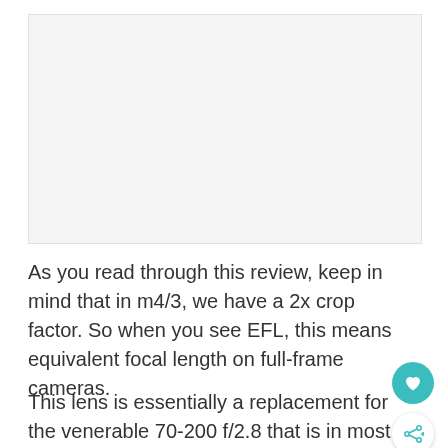[Figure (photo): Blank/placeholder image area with light gray background]
As you read through this review, keep in mind that in m4/3, we have a 2x crop factor. So when you see EFL, this means equivalent focal length on full-frame cameras.
This lens is essentially a replacement for the venerable 70-200 f/2.8 that is in most pro's bags with